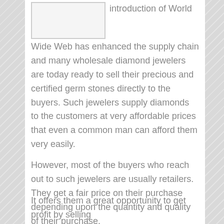[Figure (other): Rectangular placeholder image box with border]
introduction of World Wide Web has enhanced the supply chain and many wholesale diamond jewelers are today ready to sell their precious and certified germ stones directly to the buyers. Such jewelers supply diamonds to the customers at very affordable prices that even a common man can afford them very easily.
However, most of the buyers who reach out to such jewelers are usually retailers. They get a fair price on their purchase depending upon the quantity and quality of their purchase.
It offers them a great opportunity to get profit by selling